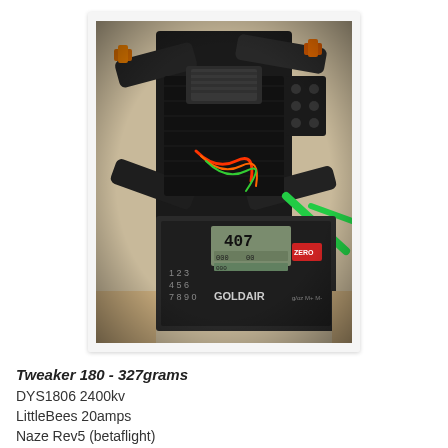[Figure (photo): Top-down photo of a Tweaker 180 FPV racing drone placed on a GOLDAIR digital scale showing 407 grams reading. The drone has carbon fiber frame, black straps, orange and green wires/propellers, and visible DYS motors. The scale has number pad buttons 1-9 and 0 and GOLDAIR branding.]
Tweaker 180 - 327grams
DYS1806 2400kv
LittleBees 20amps
Naze Rev5 (betaflight)
D4RII Transmitter
FPV VTX...